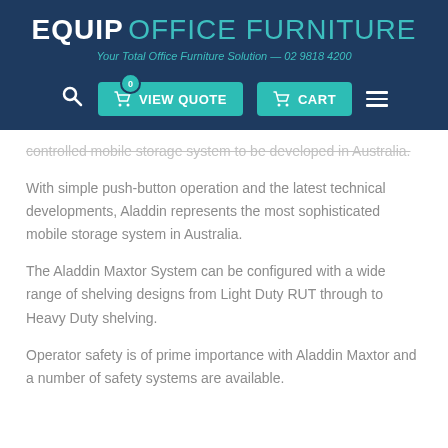EQUIP OFFICE FURNITURE — Your Total Office Furniture Solution — 02 9818 4200
controlled mobile storage system to be developed in Australia.
With simple push-button operation and the latest technical developments, Aladdin represents the most sophisticated mobile storage system in Australia.
The Aladdin Maxtor System can be configured with a wide range of shelving designs from Light Duty RUT through to Heavy Duty shelving.
Operator safety is of prime importance with Aladdin Maxtor and a number of safety systems are available.